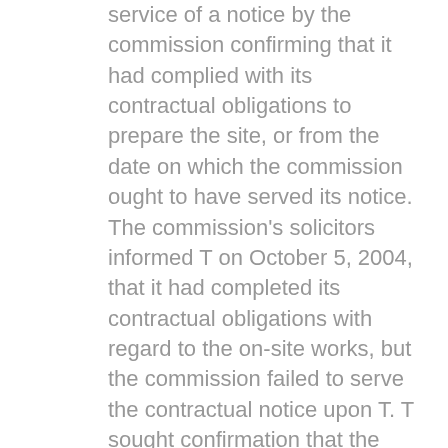service of a notice by the commission confirming that it had complied with its contractual obligations to prepare the site, or from the date on which the commission ought to have served its notice. The commission's solicitors informed T on October 5, 2004, that it had completed its contractual obligations with regard to the on-site works, but the commission failed to serve the contractual notice upon T. T sought confirmation that the option period had not yet commenced. Despite the express terms of the agreement, in November 2004 the commission's solicitors stated that the commission's notice had not been served and consequently the option period had not yet commenced. The commission submitted that the option period had commenced when T received its letter of